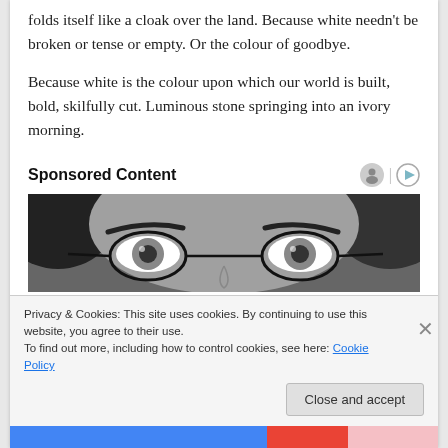folds itself like a cloak over the land. Because white needn't be broken or tense or empty. Or the colour of goodbye.

Because white is the colour upon which our world is built, bold, skilfully cut. Luminous stone springing into an ivory morning.
Sponsored Content
[Figure (photo): Black and white close-up photo of a person's eyes and forehead wearing round glasses]
Privacy & Cookies: This site uses cookies. By continuing to use this website, you agree to their use.
To find out more, including how to control cookies, see here: Cookie Policy
Close and accept